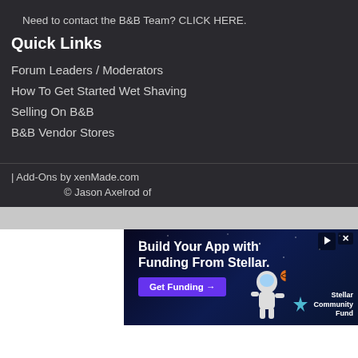Need to contact the B&B Team? CLICK HERE.
Quick Links
Forum Leaders / Moderators
How To Get Started Wet Shaving
Selling On B&B
B&B Vendor Stores
| Add-Ons by xenMade.com
© Jason Axelrod of
[Figure (screenshot): Advertisement banner: 'Build Your App with Funding From Stellar.' with a 'Get Funding →' button and Stellar Community Fund logo with astronaut illustration]